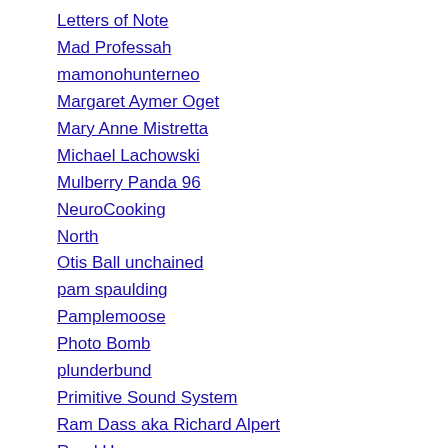Letters of Note
Mad Professah
mamonohunterneo
Margaret Aymer Oget
Mary Anne Mistretta
Michael Lachowski
Mulberry Panda 96
NeuroCooking
North
Otis Ball unchained
pam spaulding
Pamplemoose
Photo Bomb
plunderbund
Primitive Sound System
Ram Dass aka Richard Alpert
Rand Hoppe
Republic Of T
STELLA'S BLOG